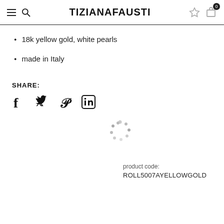TIZIANAFAUSTI
18k yellow gold, white pearls
made in Italy
SHARE:
[Figure (other): Social share icons: Facebook, Twitter, Pinterest, LinkedIn]
[Figure (other): Loading spinner dots]
product code: ROLL5007AYELLOWGOLD